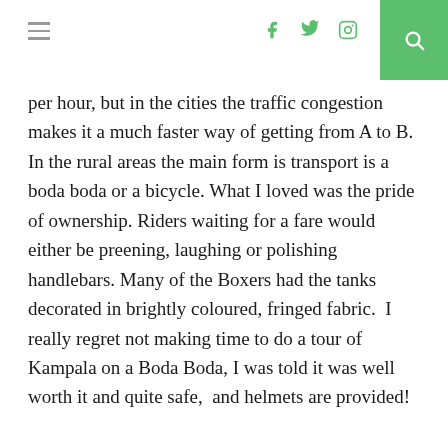navigation header with hamburger menu, social icons (facebook, twitter, instagram), and search button
per hour, but in the cities the traffic congestion makes it a much faster way of getting from A to B. In the rural areas the main form is transport is a boda boda or a bicycle. What I loved was the pride of ownership. Riders waiting for a fare would either be preening, laughing or polishing handlebars. Many of the Boxers had the tanks decorated in brightly coloured, fringed fabric. I really regret not making time to do a tour of Kampala on a Boda Boda, I was told it was well worth it and quite safe, and helmets are provided!